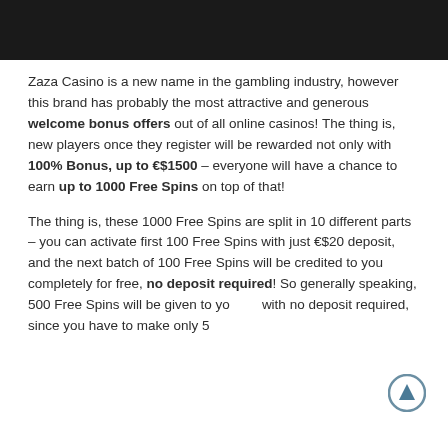[Figure (other): Black header bar at top of page]
Zaza Casino is a new name in the gambling industry, however this brand has probably the most attractive and generous welcome bonus offers out of all online casinos! The thing is, new players once they register will be rewarded not only with 100% Bonus, up to €$1500 – everyone will have a chance to earn up to 1000 Free Spins on top of that!
The thing is, these 1000 Free Spins are split in 10 different parts – you can activate first 100 Free Spins with just €$20 deposit, and the next batch of 100 Free Spins will be credited to you completely for free, no deposit required! So generally speaking, 500 Free Spins will be given to you with no deposit required, since you have to make only 5